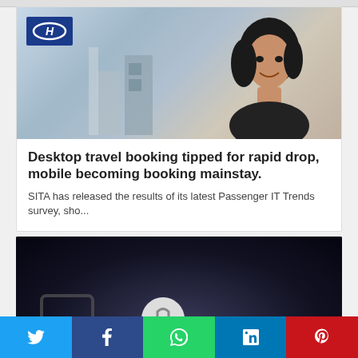[Figure (photo): Woman smiling at airport or modern building with Hyundai logo flag in background, bluish tones]
Desktop travel booking tipped for rapid drop, mobile becoming booking mainstay.
SITA has released the results of its latest Passenger IT Trends survey, sho...
[Figure (photo): Dark image with chain and lock element, possibly representing security or cybersecurity theme]
Twitter | Facebook | WhatsApp | LinkedIn | Pinterest social share buttons